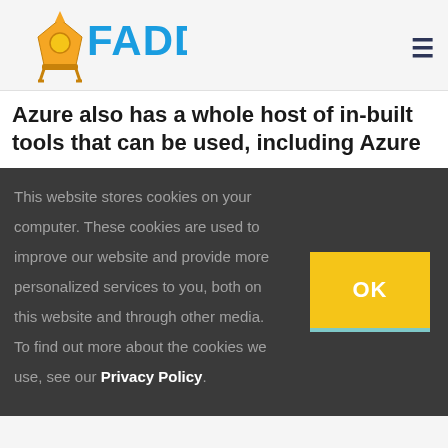[Figure (logo): FADDOM logo with blue text and gold sextant/compass icon]
Azure also has a whole host of in-built tools that can be used, including Azure
This website stores cookies on your computer. These cookies are used to improve our website and provide more personalized services to you, both on this website and through other media. To find out more about the cookies we use, see our Privacy Policy.